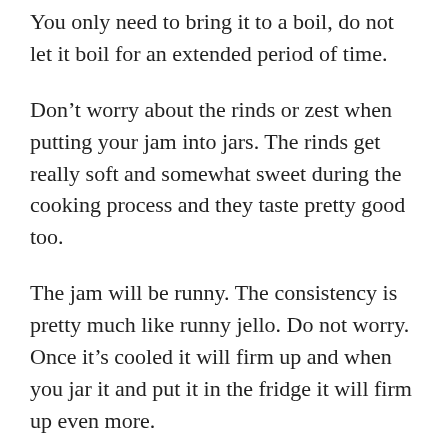You only need to bring it to a boil, do not let it boil for an extended period of time.
Don’t worry about the rinds or zest when putting your jam into jars. The rinds get really soft and somewhat sweet during the cooking process and they taste pretty good too.
The jam will be runny. The consistency is pretty much like runny jello. Do not worry. Once it’s cooled it will firm up and when you jar it and put it in the fridge it will firm up even more.
I really like lemon flavor and wanted it to stand out more than the sweetness, but if you’d prefer less lemon flavor and more sugar, feel free to cut down the lemon juice and add more water and a tablespoon more of sugar.